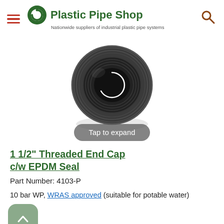Plastic Pipe Shop — Nationwide suppliers of industrial plastic pipe systems
[Figure (photo): Dark grey/black threaded end cap with internal EPDM seal, viewed from front at slight angle, showing threaded interior and ridged exterior.]
Tap to expand
1 1/2" Threaded End Cap c/w EPDM Seal
Part Number: 4103-P
10 bar WP, WRAS approved (suitable for potable water)